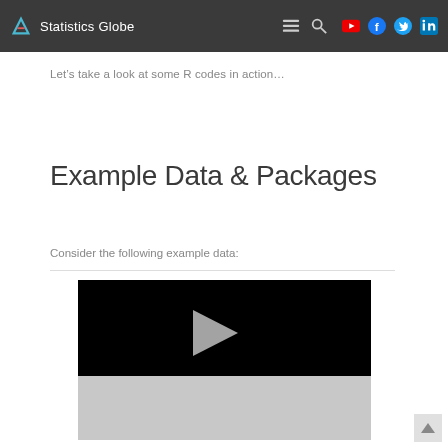Statistics Globe
Let’s take a look at some R codes in action…
Example Data & Packages
Consider the following example data:
[Figure (screenshot): Embedded video player with black upper area and gray controls area showing a play button in the center]